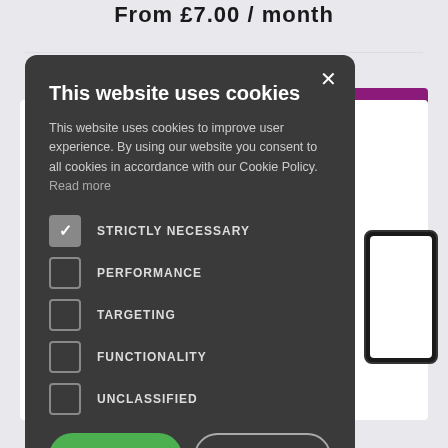From £7.00 / month
[Figure (screenshot): Cookie consent dialog overlay on a website. Dark modal with title 'This website uses cookies', body text, checkboxes for STRICTLY NECESSARY (checked), PERFORMANCE, TARGETING, FUNCTIONALITY, UNCLASSIFIED, plus ACCEPT ALL and DECLINE ALL buttons and a SHOW DETAILS link.]